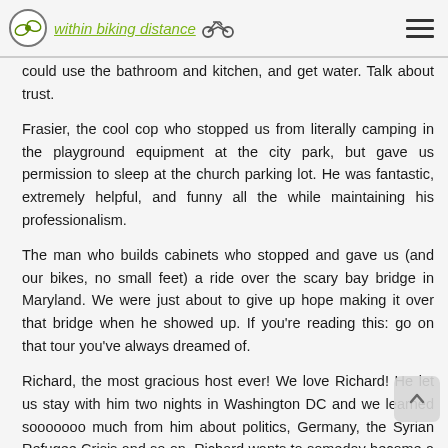within biking distance
could use the bathroom and kitchen, and get water. Talk about trust.
Frasier, the cool cop who stopped us from literally camping in the playground equipment at the city park, but gave us permission to sleep at the church parking lot. He was fantastic, extremely helpful, and funny all the while maintaining his professionalism.
The man who builds cabinets who stopped and gave us (and our bikes, no small feet) a ride over the scary bay bridge in Maryland. We were just about to give up hope making it over that bridge when he showed up. If you're reading this: go on that tour you've always dreamed of.
Richard, the most gracious host ever! We love Richard! He let us stay with him two nights in Washington DC and we learned sooooooo much from him about politics, Germany, the Syrian Refugee Crisis and so on. Richard wants to someday become a professor, now he works with the German party embassy and